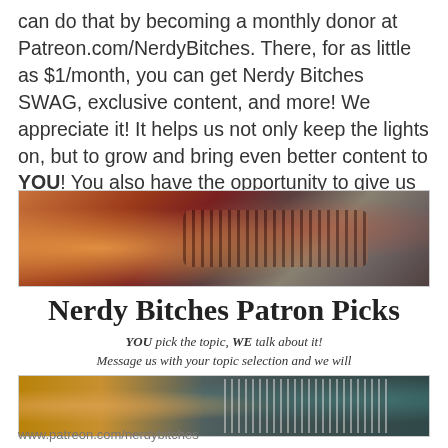can do that by becoming a monthly donor at Patreon.com/NerdyBitches. There, for as little as $1/month, you can get Nerdy Bitches SWAG, exclusive content, and more! We appreciate it! It helps us not only keep the lights on, but to grow and bring even better content to YOU! You also have the opportunity to give us a topic idea to cover!
[Figure (photo): Close-up photograph of a vintage red radio with grille details, warm tones with bokeh background]
[Figure (infographic): Nerdy Bitches Patron Picks banner with cursive title and italic subtitle text: YOU pick the topic, WE talk about it! Message us with your topic selection and we will draw a new Patron's pick each month!!]
[Figure (photo): Close-up photograph of vintage musical instruments with teal and gold tones, possibly an accordion or keyboard instrument]
www.patreon.com/nerdybitches